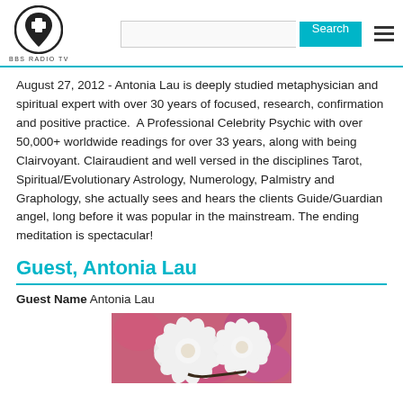BBS RADIO TV
August 27, 2012 - Antonia Lau is deeply studied metaphysician and spiritual expert with over 30 years of focused, research, confirmation and positive practice.  A Professional Celebrity Psychic with over 50,000+ worldwide readings for over 33 years, along with being Clairvoyant. Clairaudient and well versed in the disciplines Tarot, Spiritual/Evolutionary Astrology, Numerology, Palmistry and Graphology, she actually sees and hears the clients Guide/Guardian angel, long before it was popular in the mainstream. The ending meditation is spectacular!
Guest, Antonia Lau
Guest Name Antonia Lau
[Figure (photo): Photo of white flowers (chrysanthemums) against a pink/purple bokeh background]